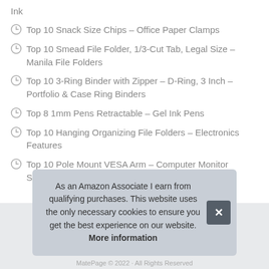Ink
Top 10 Snack Size Chips – Office Paper Clamps
Top 10 Smead File Folder, 1/3-Cut Tab, Legal Size – Manila File Folders
Top 10 3-Ring Binder with Zipper – D-Ring, 3 Inch – Portfolio & Case Ring Binders
Top 8 1mm Pens Retractable – Gel Ink Pens
Top 10 Hanging Organizing File Folders – Electronics Features
Top 10 Pole Mount VESA Arm – Computer Monitor Stands
As an Amazon Associate I earn from qualifying purchases. This website uses the only necessary cookies to ensure you get the best experience on our website. More information
MatePage © 2022 · All Rights Reserved